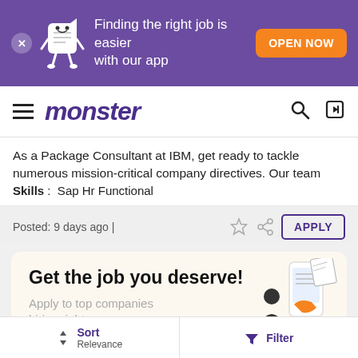[Figure (screenshot): Monster job board app banner with purple background, mascot, and OPEN NOW button]
monster
As a Package Consultant at IBM, get ready to tackle numerous mission-critical company directives. Our team takes on the ...
Skills: Sap Hr Functional
Posted: 9 days ago |
[Figure (illustration): Get the job you deserve! Apply to top companies hiring right now. Promotional card with phone illustration.]
Sort Relevance
Filter